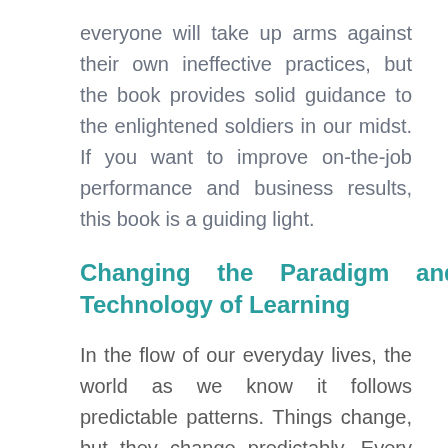everyone will take up arms against their own ineffective practices, but the book provides solid guidance to the enlightened soldiers in our midst. If you want to improve on-the-job performance and business results, this book is a guiding light.
Changing the Paradigm and Technology of Learning
In the flow of our everyday lives, the world as we know it follows predictable patterns. Things change, but they change predictably. Every once in while, however, something new appears—an innovation or idea so strange